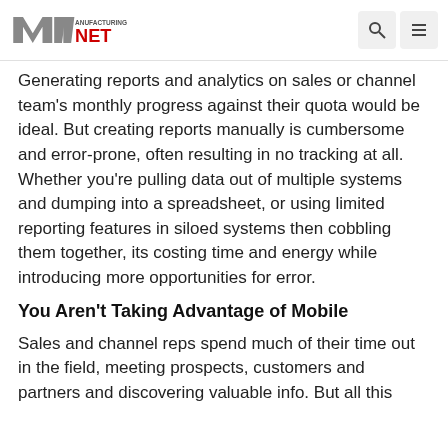Manufacturing NET
Generating reports and analytics on sales or channel team's monthly progress against their quota would be ideal. But creating reports manually is cumbersome and error-prone, often resulting in no tracking at all. Whether you're pulling data out of multiple systems and dumping into a spreadsheet, or using limited reporting features in siloed systems then cobbling them together, its costing time and energy while introducing more opportunities for error.
You Aren't Taking Advantage of Mobile
Sales and channel reps spend much of their time out in the field, meeting prospects, customers and partners and discovering valuable info. But all this